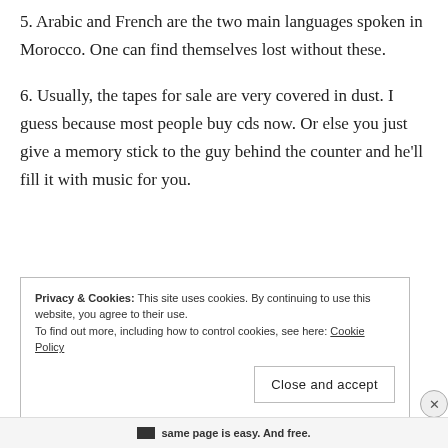5. Arabic and French are the two main languages spoken in Morocco. One can find themselves lost without these.
6. Usually, the tapes for sale are very covered in dust. I guess because most people buy cds now. Or else you just give a memory stick to the guy behind the counter and he'll fill it with music for you.
Privacy & Cookies: This site uses cookies. By continuing to use this website, you agree to their use.
To find out more, including how to control cookies, see here: Cookie Policy
Close and accept
same page is easy. And free.